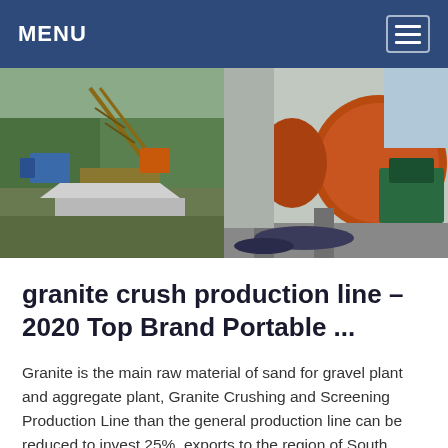MENU
[Figure (photo): Two side-by-side photos of granite crushing production line equipment: left image shows an outdoor crushing plant with conveyor structures and blue machinery; right image shows a large orange industrial ball mill or drum with green motor drive.]
granite crush production line – 2020 Top Brand Portable ...
Granite is the main raw material of sand for gravel plant and aggregate plant, Granite Crushing and Screening Production Line than the general production line can be reduced to invest 25%, exports to the region of South Africa, Zambia, Algeria, Tanzania, Indonesia, India, United Arab Emirates, more than 80 countries.